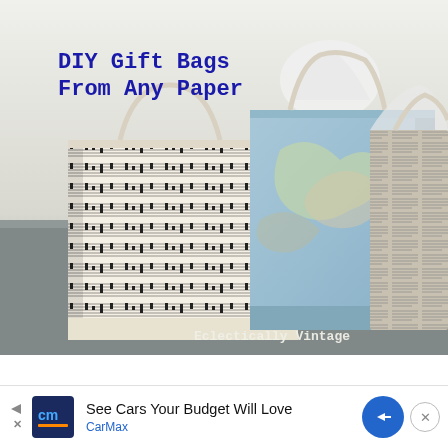[Figure (photo): Photo of three DIY gift bags made from different papers: one with sheet music print, one with a vintage map print (light blue), and one with newspaper/text print. The bags have white rope handles and tissue paper visible at the top. Set on a gray stone/concrete surface. Text overlay in blue typewriter font reads 'DIY Gift Bags From Any Paper'. Watermark reads 'Eclectically Vintage'.]
DIY Gift Bags From Any Paper
[Figure (screenshot): Advertisement banner for CarMax: 'See Cars Your Budget Will Love' with CarMax logo (cm in dark blue box), blue navigation arrow icon, and close button (x in circle).]